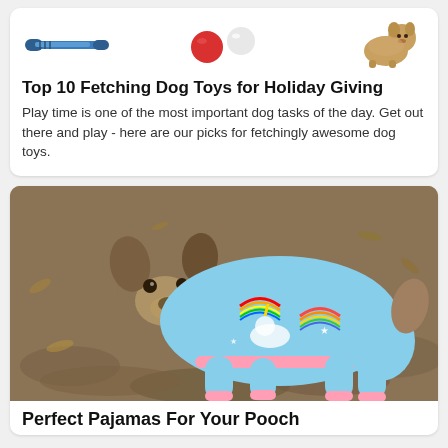[Figure (photo): Three dog toy product images side by side: a blue squeaky toy/stick on the left, red and white pom-pom balls in the middle, and a small fluffy dog on the right]
Top 10 Fetching Dog Toys for Holiday Giving
Play time is one of the most important dog tasks of the day. Get out there and play - here are our picks for fetchingly awesome dog toys.
[Figure (photo): A brown and gray medium-sized dog wearing a light blue unicorn and rainbow patterned pajama onesie with pink trim, standing outdoors on dirt/gravel ground]
Perfect Pajamas For Your Pooch